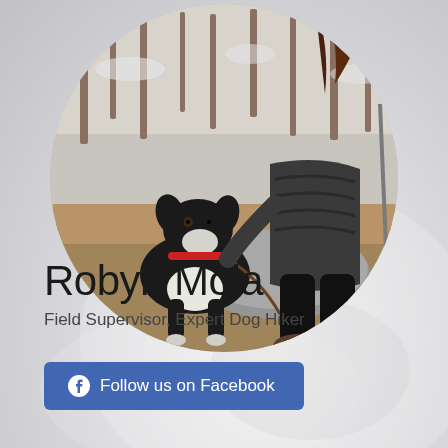[Figure (photo): Circular profile photo of a woman crouching next to a black and white dog with a red collar on a forest trail in winter. The woman wears a dark puffer jacket and black leggings with hiking boots. Bare trees and light snow visible in background.]
Robyn Mola
Field Supervisor, Expert Dog Hiker
Follow us on Facebook